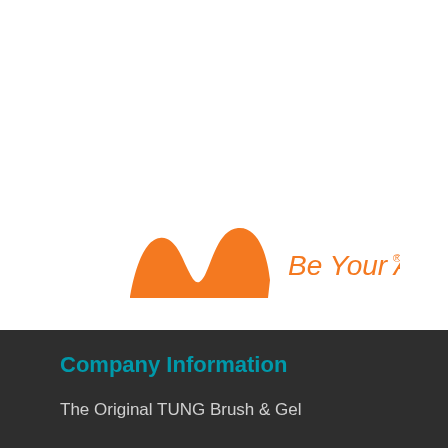[Figure (logo): M Be Your Adventure logo in orange, with a stylized M wave shape on the left and italic text 'Be Your Adventure' on the right]
Company Information
The Original TUNG Brush & Gel